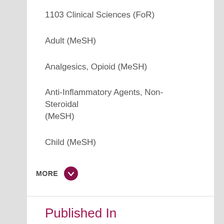1103 Clinical Sciences (FoR)
Adult (MeSH)
Analgesics, Opioid (MeSH)
Anti-Inflammatory Agents, Non-Steroidal (MeSH)
Child (MeSH)
MORE
Published In
Clinical Otolaryngology and Allied Sciences